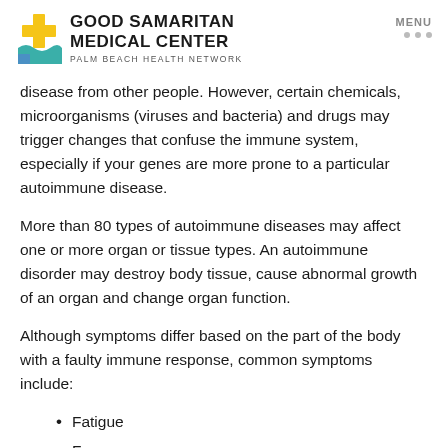Good Samaritan Medical Center — Palm Beach Health Network
disease from other people. However, certain chemicals, microorganisms (viruses and bacteria) and drugs may trigger changes that confuse the immune system, especially if your genes are more prone to a particular autoimmune disease.
More than 80 types of autoimmune diseases may affect one or more organ or tissue types. An autoimmune disorder may destroy body tissue, cause abnormal growth of an organ and change organ function.
Although symptoms differ based on the part of the body with a faulty immune response, common symptoms include:
Fatigue
Fever